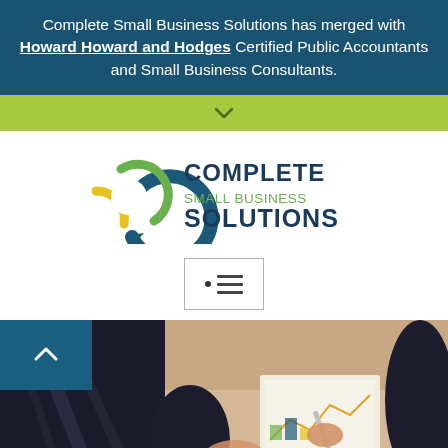Complete Small Business Solutions has merged with Howard Howard and Hodges Certified Public Accountants and Small Business Consultants.
[Figure (other): Green chevron/collapse bar with a down arrow indicator]
[Figure (logo): Complete Small Business Solutions logo: circular arrow icon in teal, green, and yellow with text COMPLETE SMALL BUSINESS SOLUTIONS]
[Figure (other): Navigation menu icon — a dot and three horizontal lines (hamburger menu) inside a bordered box]
[Figure (photo): Business professionals reviewing financial charts and documents, person writing with a pen]